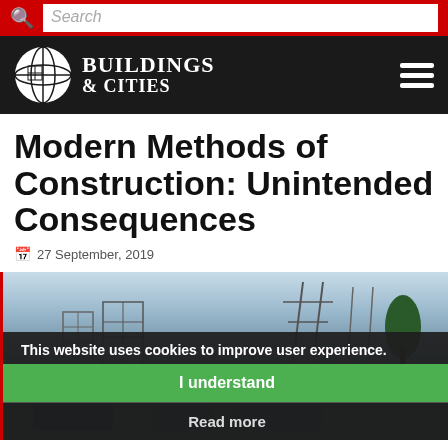Search
[Figure (logo): Buildings & Cities journal logo with circular globe icon on black navigation bar with hamburger menu]
Modern Methods of Construction: Unintended Consequences
27 September, 2019
[Figure (photo): Construction site photo showing scaffolding, cranes, and electrical towers against a light sky]
This website uses cookies to improve user experience.
I understand
Read more